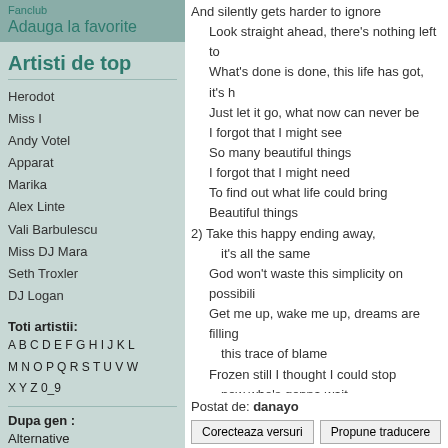Fanclub
Adauga la favorite
Artisti de top
Herodot
Miss I
Andy Votel
Apparat
Marika
Alex Linte
Vali Barbulescu
Miss DJ Mara
Seth Troxler
DJ Logan
Toti artistii:
A B C D E F G H I J K L
M N O P Q R S T U V W
X Y Z 0_9
Dupa gen :
Alternative
And silently gets harder to ignore
    Look straight ahead, there's nothing left to
    What's done is done, this life has got, it's h
    Just let it go, what now can never be
    I forgot that I might see
    So many beautiful things
    I forgot that I might need
    To find out what life could bring
    Beautiful things
2) Take this happy ending away,
      it's all the same
    God won't waste this simplicity on possibili
    Get me up, wake me up, dreams are filling
      this trace of blame
    Frozen still I thought I could stop
      now who's gonna wait
Ref:No one's calling for me at the door
    And unpredictable won't bother anymore
    And silently gets harder to ignore
    Look straight ahead, there's nothing left to
    What's done is done, this life has got, it's h
    Just let it go, what now can never be
    So many beautiful things
    So many beautiful things
    Now what do I do, can I change my mind
    Did I think things through
    It was once my life
    It was my life at one time
Postat de: danayo
Corecteaza versuri   Propune traducere